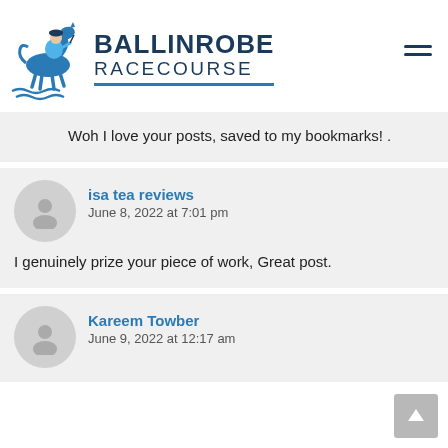[Figure (logo): Ballinrobe Racecourse logo with horse and jockey illustration and text BALLINROBE RACECOURSE]
Woh I love your posts, saved to my bookmarks! .
isa tea reviews
June 8, 2022 at 7:01 pm
I genuinely prize your piece of work, Great post.
Kareem Towber
June 9, 2022 at 12:17 am